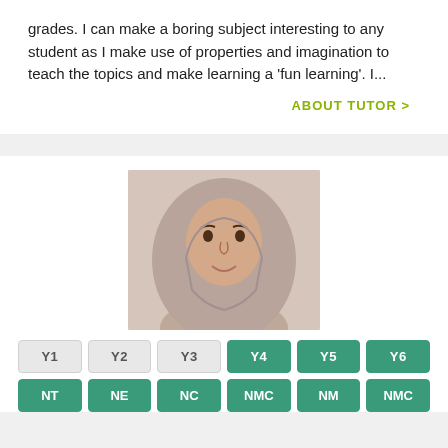grades. I can make a boring subject interesting to any student as I make use of properties and imagination to teach the topics and make learning a 'fun learning'. I...
ABOUT TUTOR >
[Figure (photo): Portrait photo of a female tutor wearing a grey hijab, smiling, against a light background.]
Y1
Y2
Y3
Y4
Y5
Y6
NT
NE
NC
NMC
NM
NMC